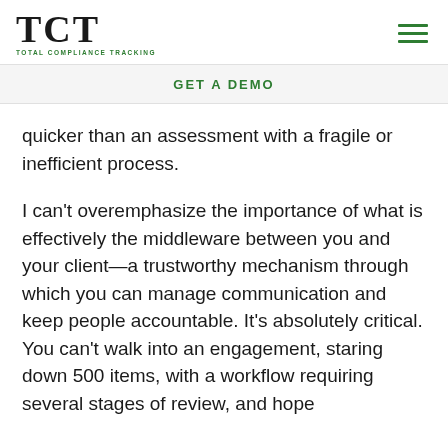TCT TOTAL COMPLIANCE TRACKING
GET A DEMO
quicker than an assessment with a fragile or inefficient process.
I can't overemphasize the importance of what is effectively the middleware between you and your client—a trustworthy mechanism through which you can manage communication and keep people accountable. It's absolutely critical. You can't walk into an engagement, staring down 500 items, with a workflow requiring several stages of review, and hope